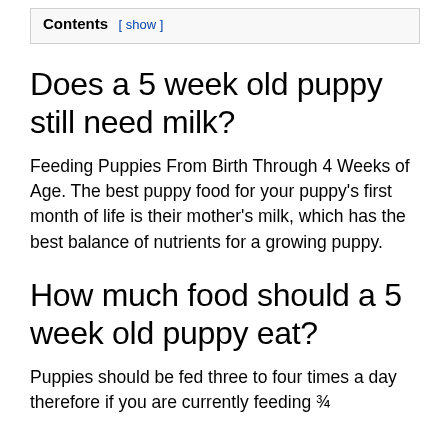Contents [ show ]
Does a 5 week old puppy still need milk?
Feeding Puppies From Birth Through 4 Weeks of Age. The best puppy food for your puppy's first month of life is their mother's milk, which has the best balance of nutrients for a growing puppy.
How much food should a 5 week old puppy eat?
Puppies should be fed three to four times a day therefore if you are currently feeding ¾